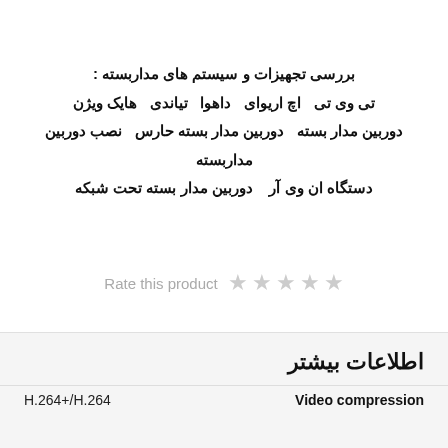بررسی تجهیزات و سیستم های مداربسته : تی وی تی  اچ اریوای  داهوا  تیاندی  هایک ویژن دوربین مدار بسته  دوربین مدار بسته حارس  نصب دوربین مداربسته دستگاه ان وی آر   دوربین مدار بسته تحت شبکه
[Figure (other): Rate this product with 5 empty star icons]
اطلاعات بیشتر
| Video compression | H.264+/H.264 |
| --- | --- |